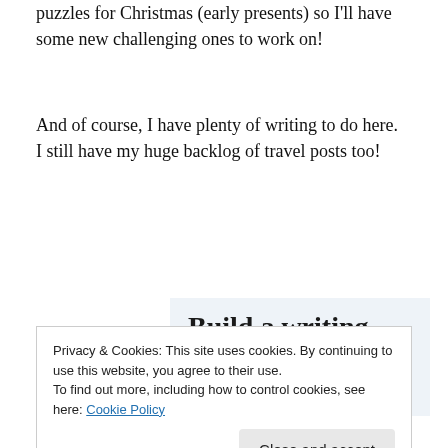puzzles for Christmas (early presents) so I'll have some new challenging ones to work on!
And of course, I have plenty of writing to do here.  I still have my huge backlog of travel posts too!
[Figure (screenshot): WordPress mobile app advertisement with large text 'Build a writing habit. Post on the go.' and 'GET THE APP' call to action with WordPress logo]
Privacy & Cookies: This site uses cookies. By continuing to use this website, you agree to their use.
To find out more, including how to control cookies, see here: Cookie Policy
End note: After I started this post before work, it started